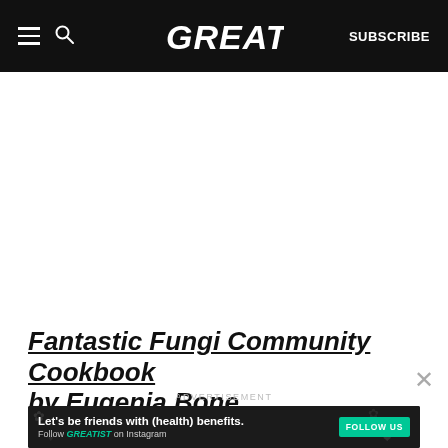GREATIST — SUBSCRIBE
Fantastic Fungi Community Cookbook by Eugenia Bone
ADVERTISEMENT
[Figure (infographic): Advertisement banner: 'Let's be friends with (health) benefits. Follow GREATIST on Instagram' with a teal FOLLOW US button on a dark background with illustrated icons.]